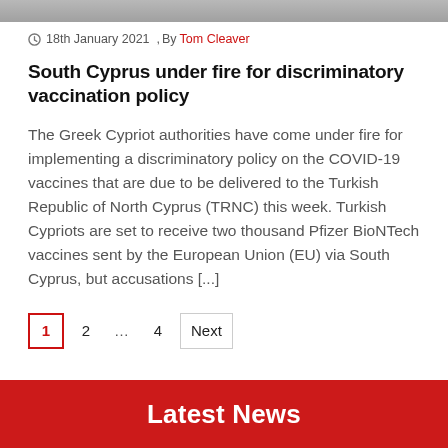[Figure (photo): Partial photo at top of page, cropped]
18th January 2021 , By Tom Cleaver
South Cyprus under fire for discriminatory vaccination policy
The Greek Cypriot authorities have come under fire for implementing a discriminatory policy on the COVID-19 vaccines that are due to be delivered to the Turkish Republic of North Cyprus (TRNC) this week. Turkish Cypriots are set to receive two thousand Pfizer BioNTech vaccines sent by the European Union (EU) via South Cyprus, but accusations [...]
Pagination: 1  2  ...  4  Next
Latest News